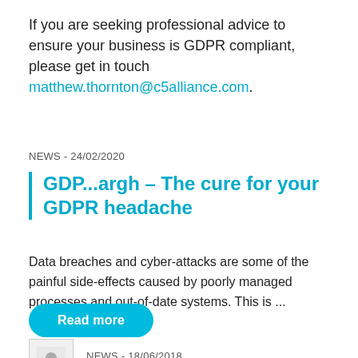If you are seeking professional advice to ensure your business is GDPR compliant, please get in touch matthew.thornton@c5alliance.com.
NEWS - 24/02/2020
GDP...argh – The cure for your GDPR headache
Data breaches and cyber-attacks are some of the painful side-effects caused by poorly managed processes and out-of-date systems. This is ...
Read more
[Figure (other): Small thumbnail image, partially visible at bottom]
NEWS - 18/06/2018 (partially visible)